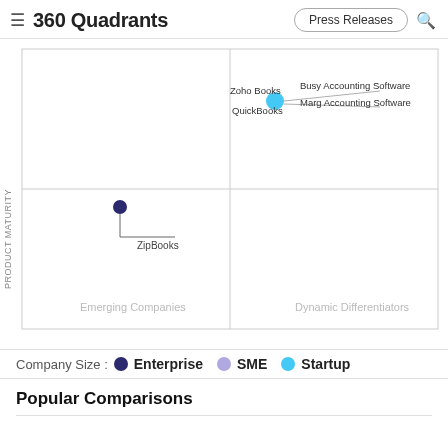360 Quadrants | Press Releases
[Figure (scatter-plot): 360 Quadrants - Product Maturity vs Company Reach]
Company Size : Enterprise SME Startup
Popular Comparisons